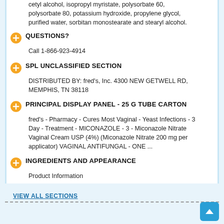cetyl alcohol, isopropyl myristate, polysorbate 60, polysorbate 80, potassium hydroxide, propylene glycol, purified water, sorbitan monostearate and stearyl alcohol.
QUESTIONS?
Call 1-866-923-4914
SPL UNCLASSIFIED SECTION
DISTRIBUTED BY: fred's, Inc. 4300 NEW GETWELL RD, MEMPHIS, TN 38118
PRINCIPAL DISPLAY PANEL - 25 G TUBE CARTON
fred's - Pharmacy - Cures Most Vaginal - Yeast Infections - 3 Day - Treatment - MICONAZOLE - 3 - Miconazole Nitrate Vaginal Cream USP (4%) (Miconazole Nitrate 200 mg per applicator) VAGINAL ANTIFUNGAL - ONE ...
INGREDIENTS AND APPEARANCE
Product Information
VIEW ALL SECTIONS